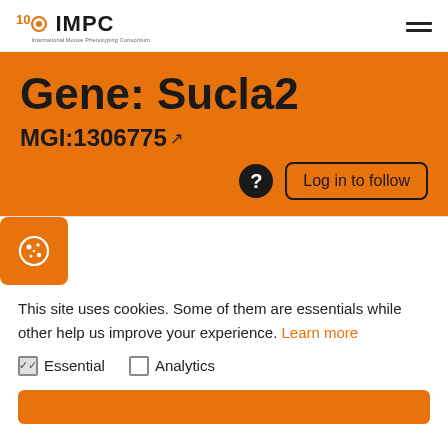IMPC - International Mouse Phenotyping Consortium
Gene: Sucla2
MGI:1306775
Log in to follow
[Figure (logo): Cookie settings icon in orange rounded square]
This site uses cookies. Some of them are essentials while other help us improve your experience. Learn more
Essential   Analytics